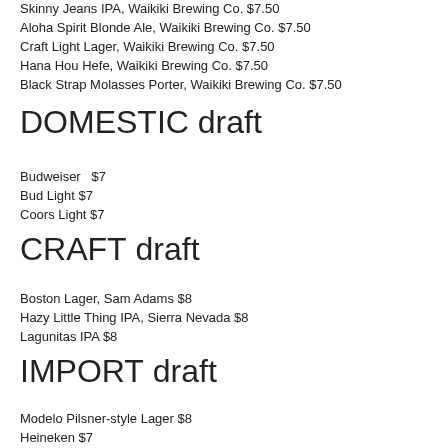Skinny Jeans IPA, Waikiki Brewing Co. $7.50
Aloha Spirit Blonde Ale, Waikiki Brewing Co. $7.50
Craft Light Lager, Waikiki Brewing Co. $7.50
Hana Hou Hefe, Waikiki Brewing Co. $7.50
Black Strap Molasses Porter, Waikiki Brewing Co. $7.50
DOMESTIC draft
Budweiser  $7
Bud Light $7
Coors Light $7
CRAFT draft
Boston Lager, Sam Adams $8
Hazy Little Thing IPA, Sierra Nevada $8
Lagunitas IPA $8
IMPORT draft
Modelo Pilsner-style Lager $8
Heineken $7
CIDER bottles